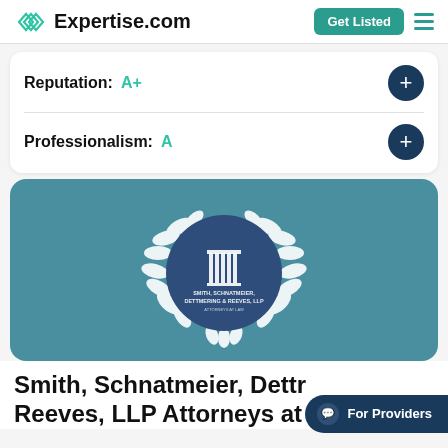Expertise.com
Reputation: A+
Professionalism: A
[Figure (logo): Smith, Schnatmeier, Dettmering & Reeves LLP law firm logo with laurel wreath on teal background]
Smith, Schnatmeier, Dettmering & Reeves, LLP Attorneys at Law